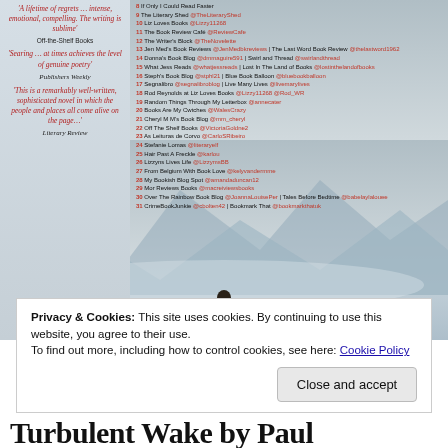[Figure (illustration): Book cover image showing a person standing on a dock/pier looking out at misty mountains and a lake. Left side has reviewer quotes in red italic text. Right side has a numbered list of blog names and social media handles in red and black text.]
8 If Only I Could Read Faster
9 The Literary Shed @TheLiteraryShed
10 Liz Loves Books @Lizzy11268
11 The Book Review Café @ReviewCafe
12 The Writer's Block @TheNovelette
13 Jen Med's Book Reviews @JenMedbkreviews | The Last Word Book Review @thelastword1962
14 Donna's Book Blog @dmmaguire591 | Swirl and Thread @swirlandthread
15 What Jess Reads @whatjessreads | Lost In The Land of Books @lostinthelandofbooks
16 Steph's Book Blog @stphl21 | Blue Book Balloon @bluebookballoon
17 Segnalibro @segnalibroblog | Live Many Lives @livermarylives
18 Rod Reynolds at Liz Loves Books @Lizzy11268 @Rod_WR
19 Random Things Through My Letterbox @annecater
20 Books Are My Cwtches @WalesCrazy
21 Cheryl M M's Book Blog @mm_cheryl
22 Off The Shelf Books @VictoriaGoldne2
23 As Leituras de Corvo @CarloSRibeiro
24 Stefanie Lomas @literaryelf
25 Hair Past A Freckle @karlou
26 Lizzyns Lives Life @LizzymsBB
27 From Belgium With Book Love @kelyvandermme
28 My Bookish Blog Spot @amandaduncan12
29 Mor Reviews Books @macreiviewsbooks
30 Over The Rainbow Book Blog @JoannaLouisePer | Tales Before Bedtime @babelaylalouee
31 CrimeBookJunkie @cbolten42 | Bookmark That @bookmarkthatuk
Privacy & Cookies: This site uses cookies. By continuing to use this website, you agree to their use.
To find out more, including how to control cookies, see here: Cookie Policy
Close and accept
Turbulent Wake by Paul